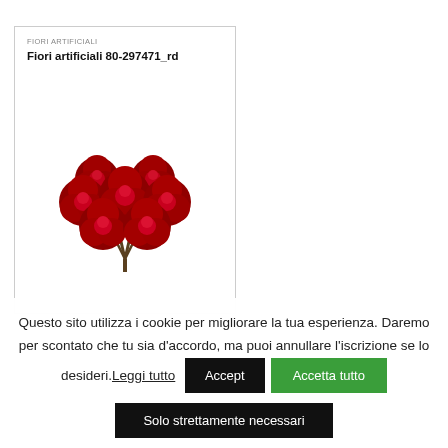FIORI ARTIFICIALI
Fiori artificiali 80-297471_rd
[Figure (illustration): Bouquet of red artificial roses with green stems on white background]
Questo sito utilizza i cookie per migliorare la tua esperienza. Daremo per scontato che tu sia d'accordo, ma puoi annullare l'iscrizione se lo desideri.Leggi tutto
Accept | Accetta tutto | Solo strettamente necessari